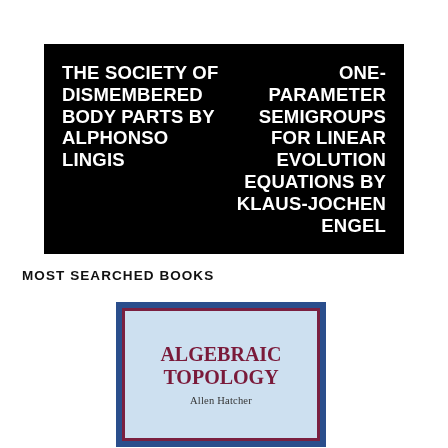[Figure (other): Black banner with two book titles in white bold uppercase text side by side: 'THE SOCIETY OF DISMEMBERED BODY PARTS BY ALPHONSO LINGIS' on the left and 'ONE-PARAMETER SEMIGROUPS FOR LINEAR EVOLUTION EQUATIONS BY KLAUS-JOCHEN ENGEL' on the right]
MOST SEARCHED BOOKS
[Figure (illustration): Book cover of 'Algebraic Topology' by Allen Hatcher. Blue outer border, light blue inner background with dark red/maroon border. Title 'ALGEBRAIC TOPOLOGY' in maroon serif font, author 'Allen Hatcher' below in smaller text.]